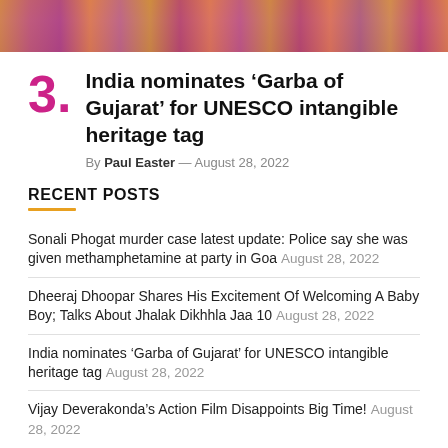[Figure (photo): Cropped top portion of an image showing people in colorful traditional Indian Garba dance attire]
India nominates ‘Garba of Gujarat’ for UNESCO intangible heritage tag
By Paul Easter — August 28, 2022
RECENT POSTS
Sonali Phogat murder case latest update: Police say she was given methamphetamine at party in Goa August 28, 2022
Dheeraj Dhoopar Shares His Excitement Of Welcoming A Baby Boy; Talks About Jhalak Dikhhla Jaa 10 August 28, 2022
India nominates ‘Garba of Gujarat’ for UNESCO intangible heritage tag August 28, 2022
Vijay Deverakonda’s Action Film Disappoints Big Time! August 28, 2022